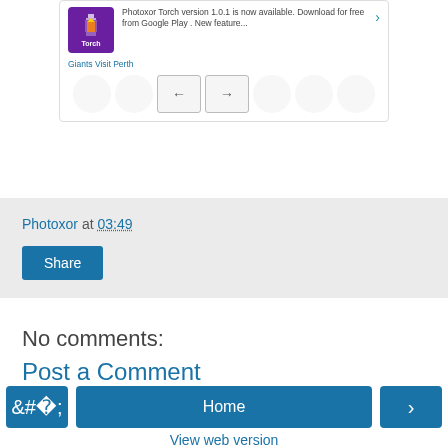[Figure (screenshot): Screenshot of a mobile app card showing Photoxor Torch version 1.0.1 update notification with navigation arrows, and a partial view of 'Giants Visit Perth' content with forward/back navigation buttons]
Photoxor at 03:49
Share
No comments:
Post a Comment
< Home > View web version